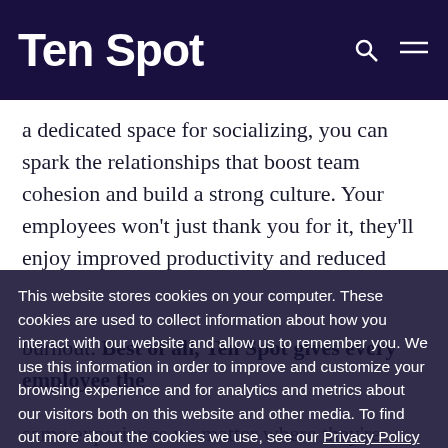Ten Spot
a dedicated space for socializing, you can spark the relationships that boost team cohesion and build a strong culture. Your employees won't just thank you for it, they'll enjoy improved productivity and reduced
This website stores cookies on your computer. These cookies are used to collect information about how you interact with our website and allow us to remember you. We use this information in order to improve and customize your browsing experience and for analytics and metrics about our visitors both on this website and other media. To find out more about the cookies we use, see our Privacy Policy
SHOW DETAILS
I Decline
I Accept